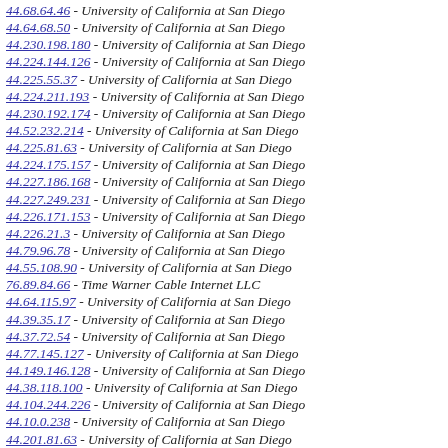44.68.64.46 - University of California at San Diego
44.64.68.50 - University of California at San Diego
44.230.198.180 - University of California at San Diego
44.224.144.126 - University of California at San Diego
44.225.55.37 - University of California at San Diego
44.224.211.193 - University of California at San Diego
44.230.192.174 - University of California at San Diego
44.52.232.214 - University of California at San Diego
44.225.81.63 - University of California at San Diego
44.224.175.157 - University of California at San Diego
44.227.186.168 - University of California at San Diego
44.227.249.231 - University of California at San Diego
44.226.171.153 - University of California at San Diego
44.226.21.3 - University of California at San Diego
44.79.96.78 - University of California at San Diego
44.55.108.90 - University of California at San Diego
76.89.84.66 - Time Warner Cable Internet LLC
44.64.115.97 - University of California at San Diego
44.39.35.17 - University of California at San Diego
44.37.72.54 - University of California at San Diego
44.77.145.127 - University of California at San Diego
44.149.146.128 - University of California at San Diego
44.38.118.100 - University of California at San Diego
44.104.244.226 - University of California at San Diego
44.10.0.238 - University of California at San Diego
44.201.81.63 - University of California at San Diego
44.156.243.225 - University of California at San Diego
44.175.160.142 - University of California at San Diego
44.89.65.47 - University of California at San Diego
44.85.161.143 - University of California at San Diego